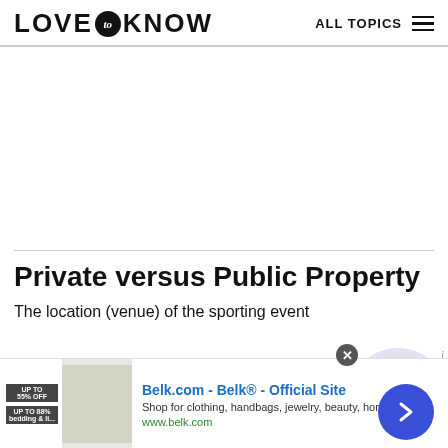LOVE to KNOW   ALL TOPICS
Private versus Public Property
The location (venue) of the sporting event
[Figure (other): Advertisement banner: Belk.com - Belk® - Official Site. Shop for clothing, handbags, jewelry, beauty, home & more! www.belk.com]